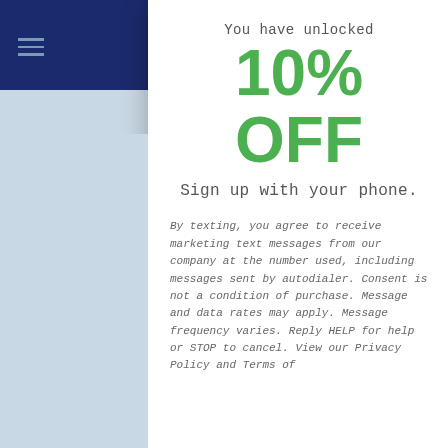[Figure (screenshot): E-commerce mobile website screenshot showing a popup modal offering 10% off for signing up with phone, overlaid on a product page for Mushrooms priced at $7.99 USD with Portobello variant and Add To Cart button]
You have unlocked
10% OFF
Sign up with your phone.
By texting, you agree to receive marketing text messages from our company at the number used, including messages sent by autodialer. Consent is not a condition of purchase. Message and data rates may apply. Message frequency varies. Reply HELP for help or STOP to cancel. View our Privacy Policy and Terms of
Refund
Mushrooms
$7.99 USD
Portobello
1
Add To Cart